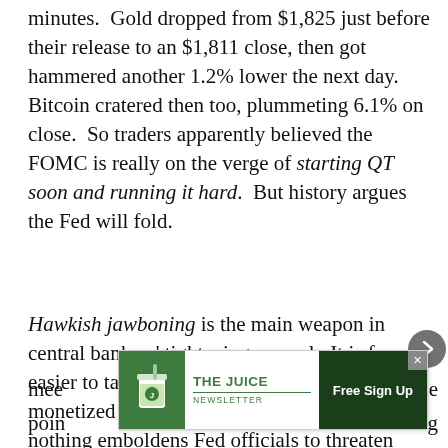minutes.  Gold dropped from $1,825 just before their release to an $1,811 close, then got hammered another 1.2% lower the next day.  Bitcoin cratered then too, plummeting 6.1% on close.  So traders apparently believed the FOMC is really on the verge of starting QT soon and running it hard.  But history argues the Fed will fold.
Hawkish jawboning is the main weapon in central bankers' tightening arsenal.  It is far easier to talk about raising rates and unwinding monetized bonds than actually doing it!  And nothing emboldens Fed officials to threaten tightening more than record-high stock markets.  When that mid-December FOMC mee[ting convened, the S&P 500 was near record] poin[ts...] ing
[Figure (other): Advertisement banner for 'The Juice Newsletter' with a green cup icon on the left, the newsletter name and a 'Free Sign Up' call-to-action button on dark green background. Has a close (x) button in the top right corner.]